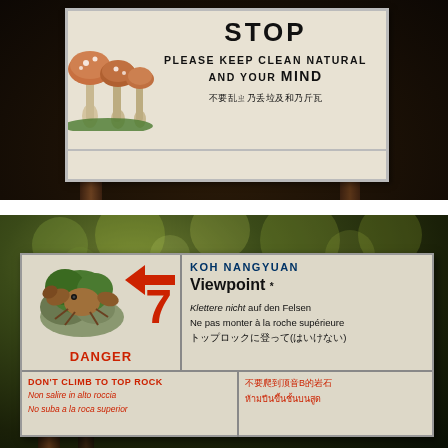[Figure (photo): Close-up photograph of a handwritten sign in a forest setting. The white sign reads: STOP / PLEASE KEEP CLEAN NATURAL / AND YOUR MIND / 不要乱ㄓ乃丢垃及和乃斤瓦. Mushroom illustration on the left side of the sign. Dark wooden background.]
[Figure (photo): Photograph of a trail sign at Koh Nangyuan viewpoint. The wooden sign has multiple sections. Top section: illustration of a crab/hermit crab, a large red number 7, the word DANGER in red, and text: KOH NANGYUAN Viewpoint / Klettere nicht auf den Felsen / Ne pas monter à la roche supérieure / トップロックに登って(はいけない). Bottom section in red text: DON'T CLIMB TO TOP ROCK / Non salire in alto roccia / No suba a la roca superior / 不要爬到顶音B的岩石 / ห้ามปีนขึ้นชั้นบนสูด. Bokeh tree background.]